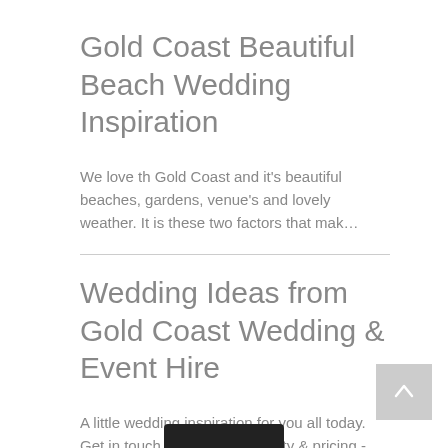Gold Coast Beautiful Beach Wedding Inspiration
We love th Gold Coast and it's beautiful beaches, gardens, venue's and lovely weather. It is these two factors that mak…
Wedding Ideas from Gold Coast Wedding & Event Hire
A little wedding inspiration for you all today. Get in touch to check availability & pricing - info@g…eddingeventhi…